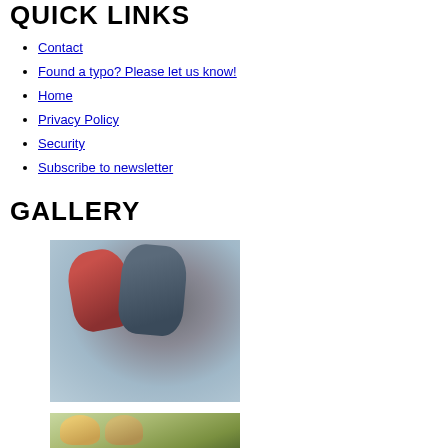QUICK LINKS
Contact
Found a typo? Please let us know!
Home
Privacy Policy
Security
Subscribe to newsletter
GALLERY
[Figure (photo): Two young people in plaid shirts sitting together in a modern interior with curved walls]
[Figure (photo): A couple looking at each other outdoors with palm trees in the background, partially visible]